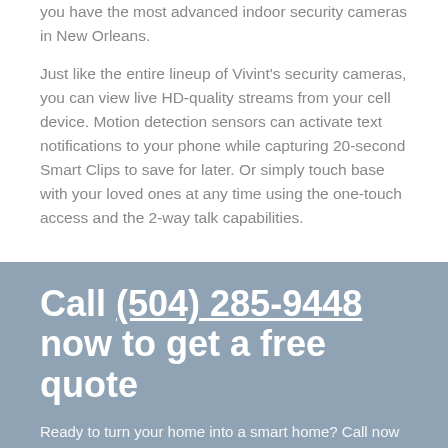you have the most advanced indoor security cameras in New Orleans.
Just like the entire lineup of Vivint's security cameras, you can view live HD-quality streams from your cell device. Motion detection sensors can activate text notifications to your phone while capturing 20-second Smart Clips to save for later. Or simply touch base with your loved ones at any time using the one-touch access and the 2-way talk capabilities.
Call (504) 285-9448 now to get a free quote
Ready to turn your home into a smart home? Call now to get